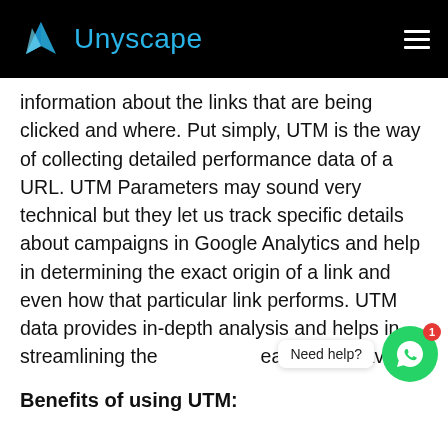Unyscape
information about the links that are being clicked and where. Put simply, UTM is the way of collecting detailed performance data of a URL. UTM Parameters may sound very technical but they let us track specific details about campaigns in Google Analytics and help in determining the exact origin of a link and even how that particular link performs. UTM data provides in-depth analysis and helps in streamlining the [Need help?] [ea] user behavior.
Benefits of using UTM: